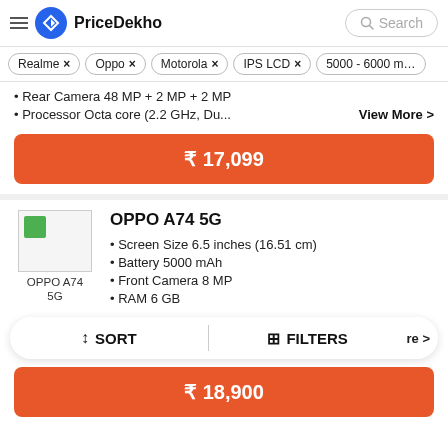PriceDekho — Search
Realme ×
Oppo ×
Motorola ×
IPS LCD ×
5000 - 6000 m…
• Rear Camera 48 MP + 2 MP + 2 MP
• Processor Octa core (2.2 GHz, Du...
View More >
₹ 17,099
OPPO A74 5G
• Screen Size 6.5 inches (16.51 cm)
• Battery 5000 mAh
• Front Camera 8 MP
• RAM 6 GB
↕ SORT   ⊞ FILTERS
₹ 18,900